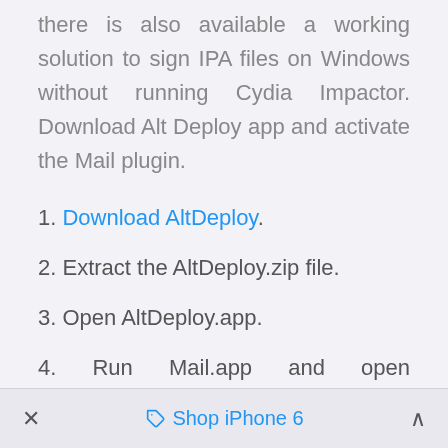there is also available a working solution to sign IPA files on Windows without running Cydia Impactor. Download Alt Deploy app and activate the Mail plugin.
1. Download AltDeploy.
2. Extract the AltDeploy.zip file.
3. Open AltDeploy.app.
4. Run Mail.app and open Preferences → General → Manage Plug-ins.
× Shop iPhone 6 ∧